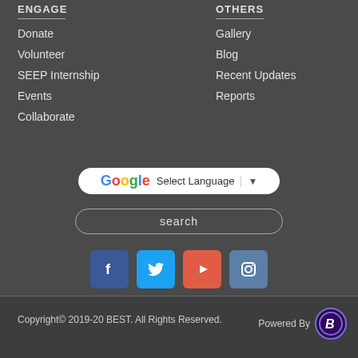ENGAGE
Donate
Volunteer
SEEP Internship
Events
Collaborate
OTHERS
Gallery
Blog
Recent Updates
Reports
[Figure (screenshot): Google Translate Select Language button]
[Figure (screenshot): Search input box]
[Figure (screenshot): Social media icons: Facebook, Twitter, YouTube, Instagram]
Copyright© 2019-20 BEST.  All Rights Reserved.
Powered By